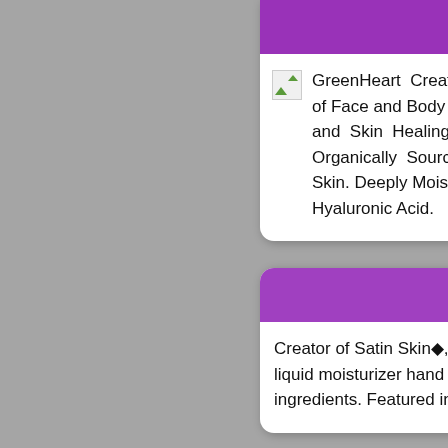Gre
GreenHeart Created a of Face and Body Cre and Skin Healing Sa Organically Sourced Skin. Deeply Moisturi Hyaluronic Acid.
G
Creator of Satin Skin◆, liquid moisturizer hand ingredients. Featured in